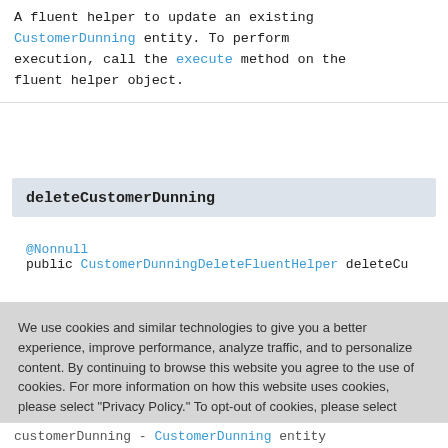A fluent helper to update an existing CustomerDunning entity. To perform execution, call the execute method on the fluent helper object.
deleteCustomerDunning
@Nonnull
public CustomerDunningDeleteFluentHelper deleteCu
We use cookies and similar technologies to give you a better experience, improve performance, analyze traffic, and to personalize content. By continuing to browse this website you agree to the use of cookies. For more information on how this website uses cookies, please select "Privacy Policy." To opt-out of cookies, please select "More Information."
Accept Cookies
More Information
Privacy Policy | Powered by: TrustArc
customerDunning - CustomerDunning entity